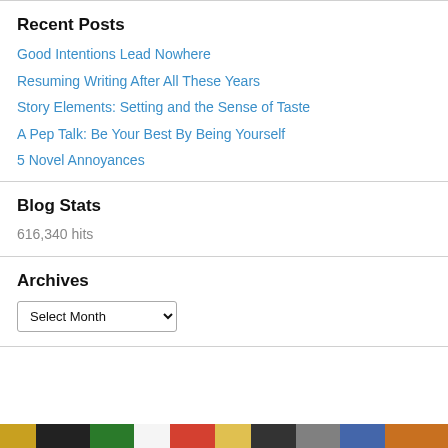Recent Posts
Good Intentions Lead Nowhere
Resuming Writing After All These Years
Story Elements: Setting and the Sense of Taste
A Pep Talk: Be Your Best By Being Yourself
5 Novel Annoyances
Blog Stats
616,340 hits
Archives
Select Month
[Figure (photo): Row of small thumbnail images at the bottom of the page]